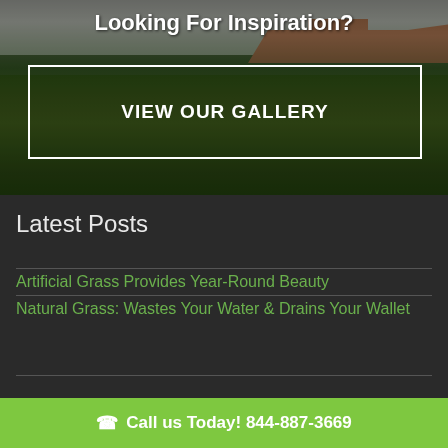[Figure (photo): Background photo of lush green grass lawn with residential buildings and trees in the background under an overcast sky]
Looking For Inspiration?
VIEW OUR GALLERY
Latest Posts
Artificial Grass Provides Year-Round Beauty
Natural Grass: Wastes Your Water & Drains Your Wallet
Call us Today! 844-887-3669